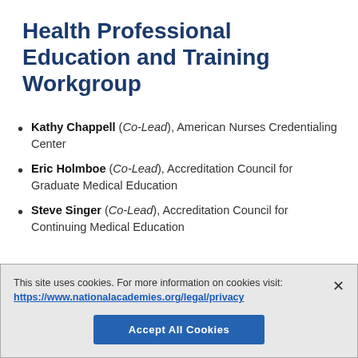Health Professional Education and Training Workgroup
Kathy Chappell (Co-Lead), American Nurses Credentialing Center
Eric Holmboe (Co-Lead), Accreditation Council for Graduate Medical Education
Steve Singer (Co-Lead), Accreditation Council for Continuing Medical Education
This site uses cookies. For more information on cookies visit: https://www.nationalacademies.org/legal/privacy